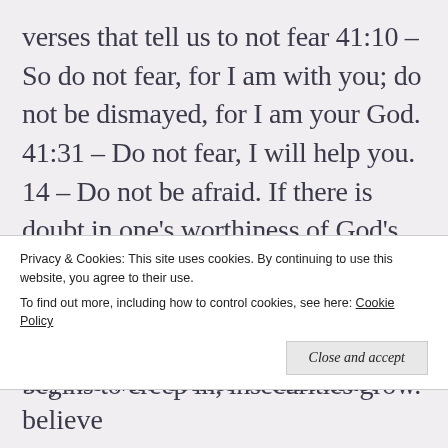verses that tell us to not fear 41:10 – So do not fear, for I am with you; do not be dismayed, for I am your God. 41:31 – Do not fear, I will help you. 14 – Do not be afraid. If there is doubt in one's worthiness of God's blessings, maybe it is a sign that there is a disconnect in the relationship somewhere. When fear begins to creep in, insecurities grow.
Privacy & Cookies: This site uses cookies. By continuing to use this website, you agree to their use. To find out more, including how to control cookies, see here: Cookie Policy
Close and accept
anyone who comes to him must believe